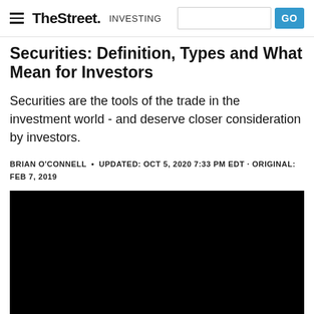TheStreet INVESTING
Securities: Definition, Types and What They Mean for Investors
Securities are the tools of the trade in the investment world - and deserve closer consideration by investors.
BRIAN O'CONNELL • UPDATED: OCT 5, 2020 7:33 PM EDT · ORIGINAL: FEB 7, 2019
[Figure (photo): Black video/image placeholder]